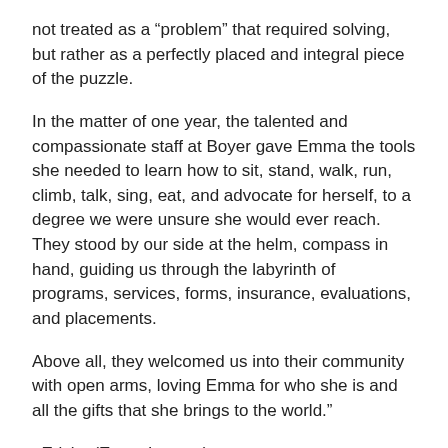not treated as a “problem” that required solving, but rather as a perfectly placed and integral piece of the puzzle.
In the matter of one year, the talented and compassionate staff at Boyer gave Emma the tools she needed to learn how to sit, stand, walk, run, climb, talk, sing, eat, and advocate for herself, to a degree we were unsure she would ever reach. They stood by our side at the helm, compass in hand, guiding us through the labyrinth of programs, services, forms, insurance, evaluations, and placements.
Above all, they welcomed us into their community with open arms, loving Emma for who she is and all the gifts that she brings to the world.”
–Ericka (Emma’s mom)